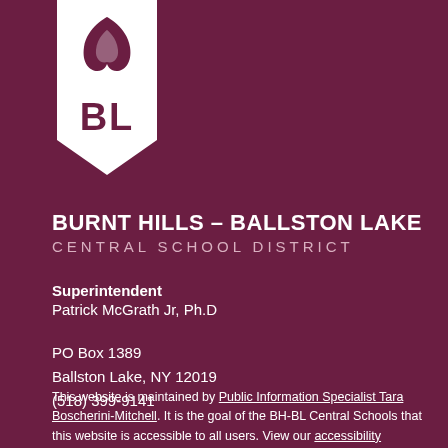[Figure (logo): BH-BL school district logo: white shield/banner shape with leaf/flame icon and 'BL' letters in maroon]
BURNT HILLS – BALLSTON LAKE CENTRAL SCHOOL DISTRICT
Superintendent
Patrick McGrath Jr, Ph.D
PO Box 1389
Ballston Lake, NY 12019
(518) 399-9141
This website is maintained by Public Information Specialist Tara Boscherini-Mitchell. It is the goal of the BH-BL Central Schools that this website is accessible to all users. View our accessibility statement. The district is not responsible for facts...